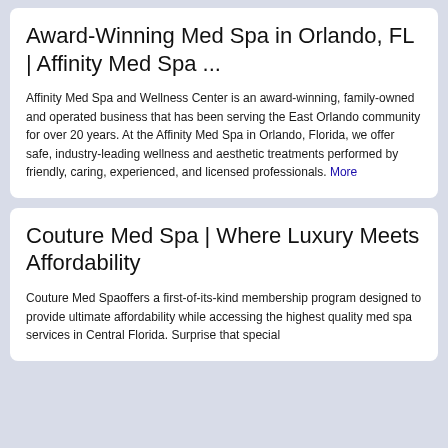Award-Winning Med Spa in Orlando, FL | Affinity Med Spa ...
Affinity Med Spa and Wellness Center is an award-winning, family-owned and operated business that has been serving the East Orlando community for over 20 years. At the Affinity Med Spa in Orlando, Florida, we offer safe, industry-leading wellness and aesthetic treatments performed by friendly, caring, experienced, and licensed professionals. More
Couture Med Spa | Where Luxury Meets Affordability
Couture Med Spaoffers a first-of-its-kind membership program designed to provide ultimate affordability while accessing the highest quality med spa services in Central Florida. Surprise that special